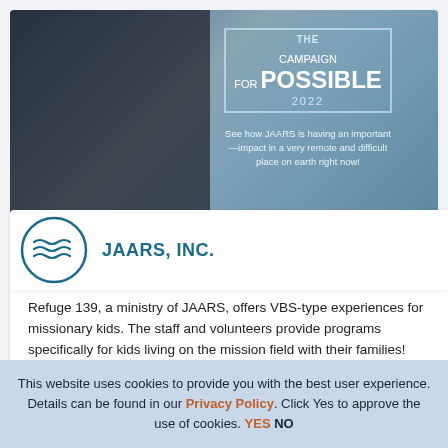[Figure (illustration): Banner image showing a person in a cockpit with mountain scenery, overlaid with Campaign for Possible 2022 text and JAARS description]
JAARS, INC.
Refuge 139, a ministry of JAARS, offers VBS-type experiences for missionary kids. The staff and volunteers provide programs specifically for kids living on the mission field with their families! Learn more about this important ministry :
This website uses cookies to provide you with the best user experience. Details can be found in our Privacy Policy. Click Yes to approve the use of cookies. YES NO